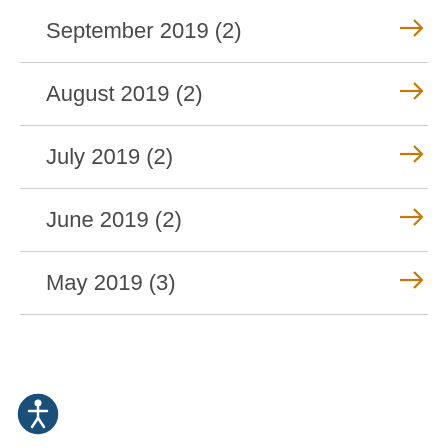September 2019 (2)
August 2019 (2)
July 2019 (2)
June 2019 (2)
May 2019 (3)